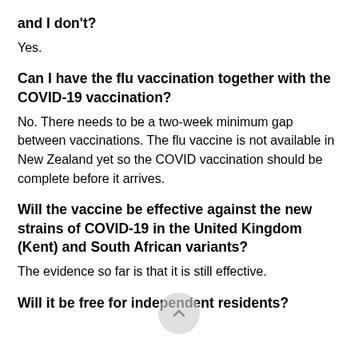and I don't?
Yes.
Can I have the flu vaccination together with the COVID-19 vaccination?
No. There needs to be a two-week minimum gap between vaccinations. The flu vaccine is not available in New Zealand yet so the COVID vaccination should be complete before it arrives.
Will the vaccine be effective against the new strains of COVID-19 in the United Kingdom (Kent) and South African variants?
The evidence so far is that it is still effective.
Will it be free for independent residents?